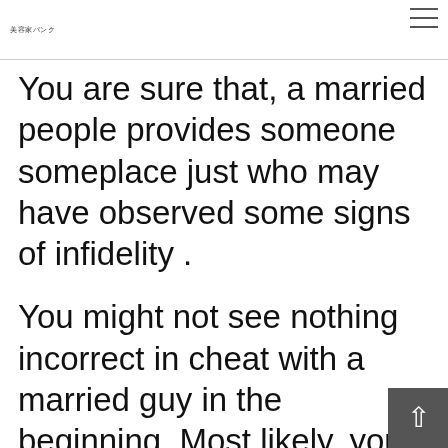美容家パンク
You are sure that, a married people provides someone someplace just who may have observed some signs of infidelity .
You might not see nothing incorrect in cheat with a married guy in the beginning. Most likely, you are pleased with the wedded guy, however, if you place your self inside partner's wife's sneakers . Basically, online dating a married guy ways charging another individual glee a